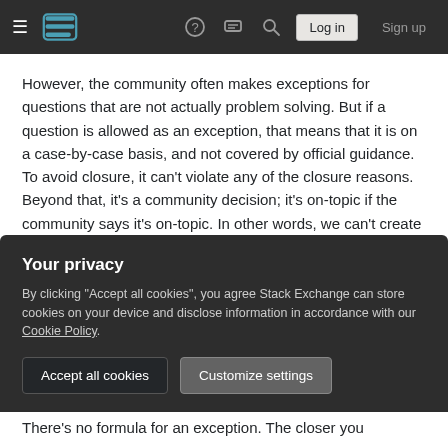Stack Exchange navigation bar with hamburger menu, logo, help, chat, search icons, Log in and Sign up buttons
However, the community often makes exceptions for questions that are not actually problem solving. But if a question is allowed as an exception, that means that it is on a case-by-case basis, and not covered by official guidance. To avoid closure, it can't violate any of the closure reasons. Beyond that, it's a community decision; it's on-topic if the community says it's on-topic. In other words, we can't create (or document) guidance that governs exceptions.
So is there anything we can do to help users who
Your privacy
By clicking "Accept all cookies", you agree Stack Exchange can store cookies on your device and disclose information in accordance with our Cookie Policy.
Accept all cookies
Customize settings
There's no formula for an exception. The closer you